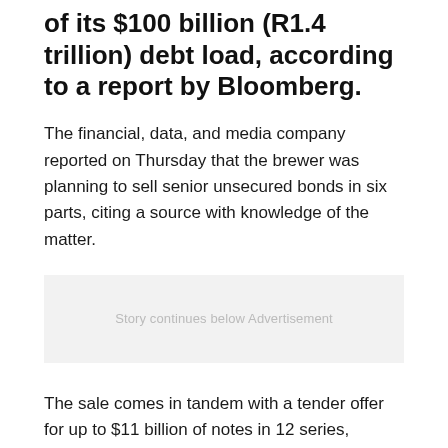of its $100 billion (R1.4 trillion) debt load, according to a report by Bloomberg.
The financial, data, and media company reported on Thursday that the brewer was planning to sell senior unsecured bonds in six parts, citing a source with knowledge of the matter.
[Figure (other): Advertisement placeholder box with text 'Story continues below Advertisement']
The sale comes in tandem with a tender offer for up to $11 billion of notes in 12 series, according to a statement Thursday. The longest portion of the offering, a 40-year security, may yield 2.9